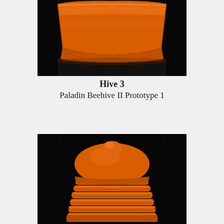[Figure (photo): Close-up photograph of an orange 3D-printed beehive prototype component (Hive 3, Paladin Beehive II Prototype 1) viewed from the side, showing a funnel/cone-shaped base with horizontal ribbing, against a dark/black background.]
Hive 3
Paladin Beehive II Prototype 1
[Figure (photo): Close-up photograph of an orange 3D-printed beehive prototype component viewed from the front/top showing a dome-shaped top with stacked horizontal ring tiers below it, against a black background.]